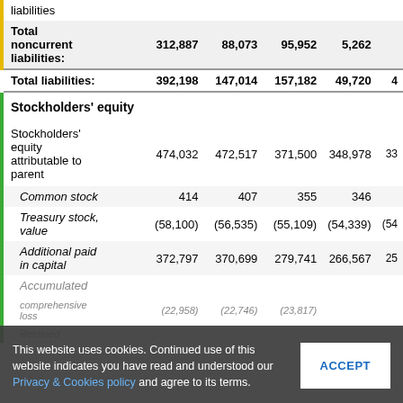|  | Col1 | Col2 | Col3 | Col4 | Col5+ |
| --- | --- | --- | --- | --- | --- |
| liabilities |  |  |  |  |  |
| Total noncurrent liabilities: | 312,887 | 88,073 | 95,952 | 5,262 |  |
| Total liabilities: | 392,198 | 147,014 | 157,182 | 49,720 | 4… |
| Stockholders' equity |  |  |  |  |  |
| Stockholders' equity attributable to parent | 474,032 | 472,517 | 371,500 | 348,978 | 33… |
| Common stock | 414 | 407 | 355 | 346 |  |
| Treasury stock, value | (58,100) | (56,535) | (55,109) | (54,339) | (54… |
| Additional paid in capital | 372,797 | 370,699 | 279,741 | 266,567 | 25… |
| Accumulated comprehensive loss |  | (22,958) | (22,746) | (23,817) |  |
| Retained |  |  |  |  |  |
This website uses cookies. Continued use of this website indicates you have read and understood our Privacy & Cookies policy and agree to its terms.